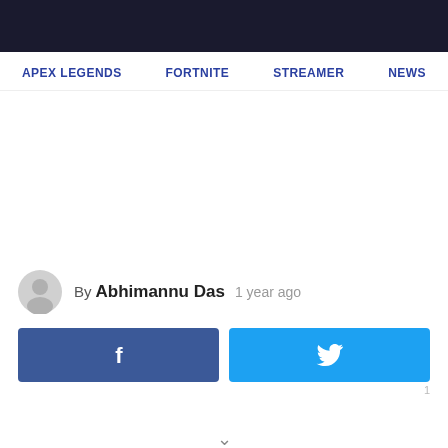APEX LEGENDS   FORTNITE   STREAMER   NEWS
By Abhimannu Das  1 year ago
[Figure (other): Facebook share button with 'f' logo]
[Figure (other): Twitter share button with bird logo]
1